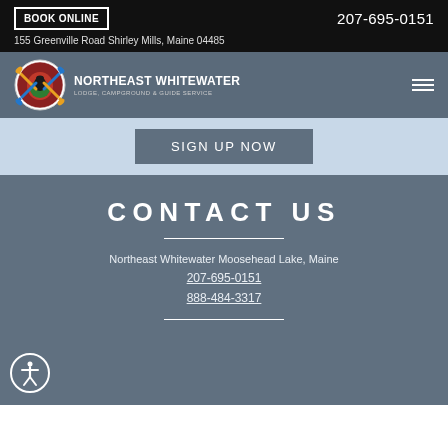BOOK ONLINE | 207-695-0151 | 155 Greenville Road Shirley Mills, Maine 04485
[Figure (logo): Northeast Whitewater Lodge, Campground & Guide Service circular logo with paddles]
NORTHEAST WHITEWATER LODGE, CAMPGROUND & GUIDE SERVICE
SIGN UP NOW
CONTACT US
Northeast Whitewater Moosehead Lake, Maine
207-695-0151
888-484-3317